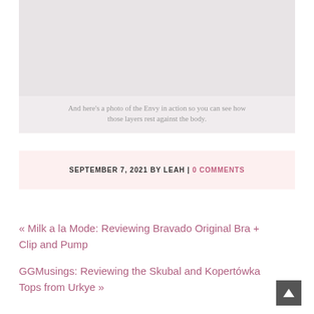[Figure (photo): Photo of a garment (the Envy bra) shown in action against the body, with layered fabric visible. Image is faded/light in tone with soft gray and pink hues.]
And here's a photo of the Envy in action so you can see how those layers rest against the body.
SEPTEMBER 7, 2021 BY LEAH | 0 COMMENTS
« Milk a la Mode: Reviewing Bravado Original Bra + Clip and Pump
GGMusings: Reviewing the Skubal and Kopertówka Tops from Urkye »